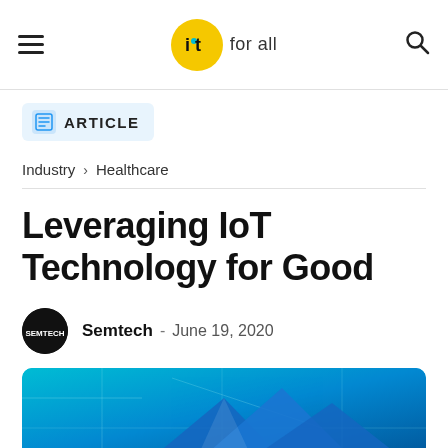IoT For All — hamburger menu, logo, search icon
ARTICLE
Industry > Healthcare
Leveraging IoT Technology for Good
Semtech - June 19, 2020
[Figure (photo): Hero image with blue circuit board / IoT network graphic background with geometric shapes]